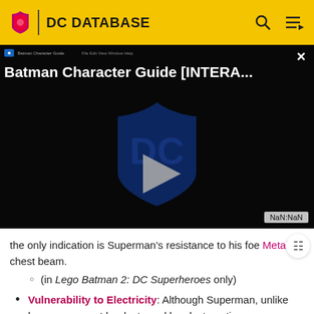DC DATABASE
[Figure (screenshot): Batman Character Guide [INTERA... video player on DC Database website, showing a dark background with a DC shield logo and a play button in the center. A close (×) button is in the top right. A NaN:NaN timestamp appears at the bottom right.]
the only indication is Superman's resistance to his foe Metallo's chest beam.
(in Lego Batman 2: DC Superheroes only)
Vulnerability to Electricity: Although Superman, unlike humans, cannot be destroyed by electrocution,